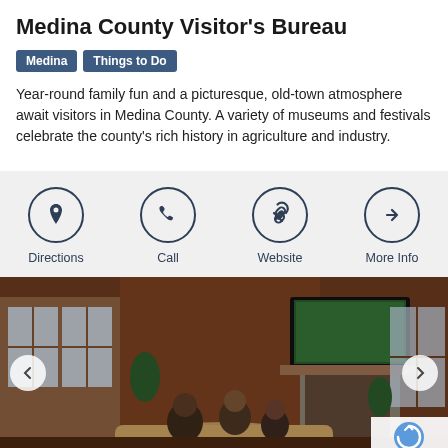Medina County Visitor's Bureau
Medina  Things to Do
Year-round family fun and a picturesque, old-town atmosphere await visitors in Medina County. A variety of museums and festivals celebrate the county's rich history in agriculture and industry.
[Figure (infographic): Four icon buttons in a row on gray background: Directions (map pin), Call (phone), Website (chain link), More Info (right arrow)]
[Figure (photo): Interior of a log cabin with people sitting on a couch watching a TV mounted above a stone fireplace. Large windows on left, warm wood walls.]